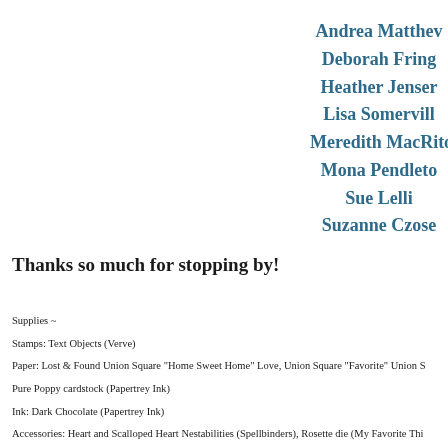Andrea Matthew
Deborah Fring
Heather Jensen
Lisa Somervill
Meredith MacRito
Mona Pendleto
Sue Lelli
Suzanne Czose
Thanks so much for stopping by!
Supplies ~
Stamps: Text Objects (Verve)
Paper: Lost & Found Union Square "Home Sweet Home" Love, Union Square "Favorite" Union S
Pure Poppy cardstock (Papertrey Ink)
Ink: Dark Chocolate (Papertrey Ink)
Accessories: Heart and Scalloped Heart Nestabilities (Spellbinders), Rosette die (My Favorite Thi